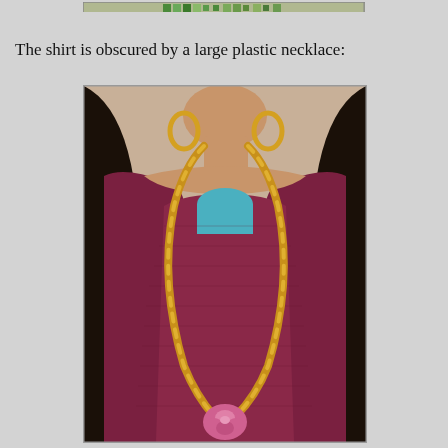[Figure (photo): Partial view of a Barbie-style doll wearing a maroon/burgundy off-shoulder sweater with a teal top visible underneath, gold chain necklace with a pink rose pendant, gold hoop earrings, and long black hair. Only the torso and lower face/neck are visible.]
The shirt is obscured by a large plastic necklace:
[Figure (photo): Close-up photo of a fashion doll (Barbie-type) wearing a burgundy/maroon off-shoulder knit sweater, a large gold braided chain necklace with a pink fabric rose pendant, gold hoop earrings, and long black hair. A teal/blue top is visible beneath the sweater neckline.]